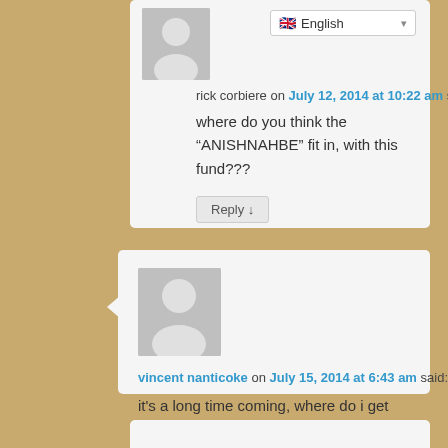[Figure (other): User avatar placeholder - gray silhouette, first commenter]
rick corbiere on July 12, 2014 at 10:22 am said:
where do you think the “ANISHNAHBE” fit in, with this fund???
Reply ↓
[Figure (other): User avatar placeholder - gray silhouette, second commenter]
vincent nanticoke on July 15, 2014 at 6:43 am said:
it's a long time coming, where do i get mine for the cayugas?
Reply ↓